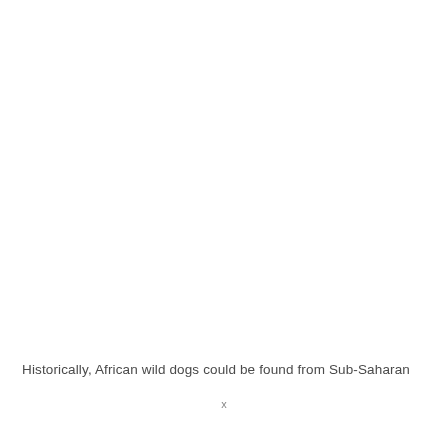Historically, African wild dogs could be found from Sub-Saharan
x